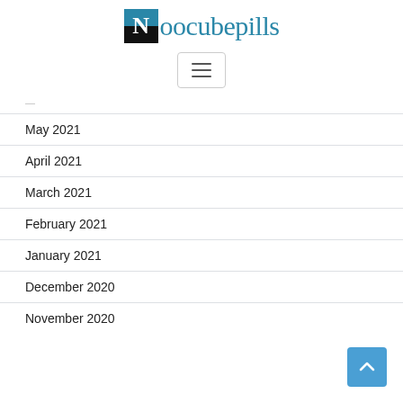[Figure (logo): Noocubepills logo with N in blue/black square and teal text]
[Figure (other): Hamburger menu button with three horizontal lines]
May 2021
April 2021
March 2021
February 2021
January 2021
December 2020
November 2020